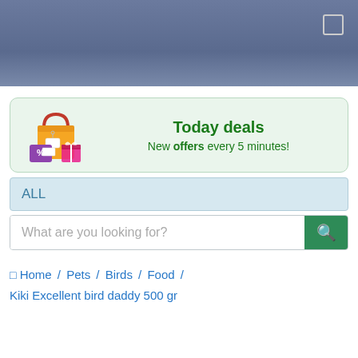[Figure (illustration): Shopping bags with discount tags and gift boxes illustration]
Today deals
New offers every 5 minutes!
ALL
What are you looking for?
🏠 Home / Pets / Birds / Food / Kiki Excellent bird daddy 500 gr